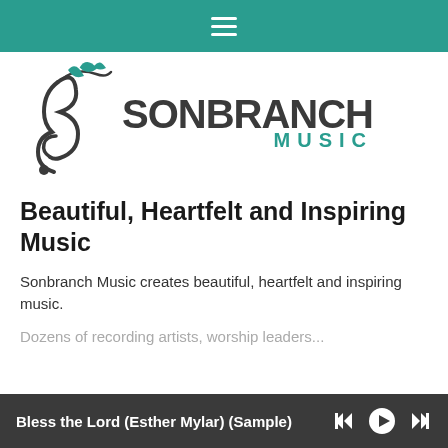≡
[Figure (logo): Sonbranch Music logo: a treble clef with a branch and teal leaves, with text SONBRANCH MUSIC]
Beautiful, Heartfelt and Inspiring Music
Sonbranch Music creates beautiful, heartfelt and inspiring music.
Dozens of recording artists, worship leaders...
Bless the Lord (Esther Mylar) (Sample)